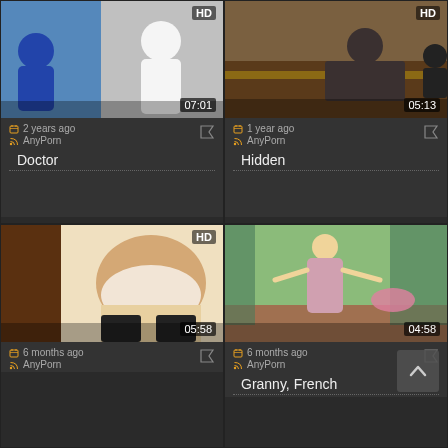[Figure (screenshot): Video thumbnail top-left: Doctor themed video, HD badge, duration 07:01]
2 years ago
AnyPorn
Doctor
[Figure (screenshot): Video thumbnail top-right: Hidden camera themed video, HD badge, duration 05:13]
1 year ago
AnyPorn
Hidden
[Figure (screenshot): Video thumbnail bottom-left: HD badge, duration 05:58]
6 months ago
AnyPorn
[Figure (screenshot): Video thumbnail bottom-right: Granny French themed video, duration 04:58]
6 months ago
AnyPorn
Granny, French